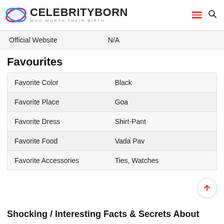CELEBRITYBORN WHO WORTH THEIR BIRTH
|  |  |
| --- | --- |
| Official Website | N/A |
Favourites
|  |  |
| --- | --- |
| Favorite Color | Black |
| Favorite Place | Goa |
| Favorite Dress | Shirt-Pant |
| Favorite Food | Vada Pav |
| Favorite Accessories | Ties, Watches |
Shocking / Interesting Facts & Secrets About